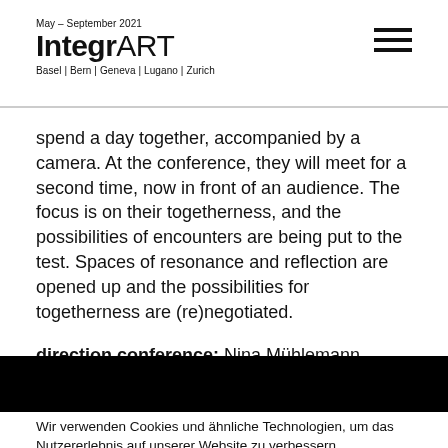May – September 2021
IntegrART
Basel | Bern | Geneva | Lugano | Zurich
spend a day together, accompanied by a camera. At the conference, they will meet for a second time, now in front of an audience. The focus is on their togetherness, and the possibilities of encounters are being put to the test. Spaces of resonance and reflection are opened up and the possibilities for togetherness are (re)negotiated.
direction conference: Nina Mühlemann
Wir verwenden Cookies und ähnliche Technologien, um das Nutzererlebnis auf unserer Website zu verbessern.